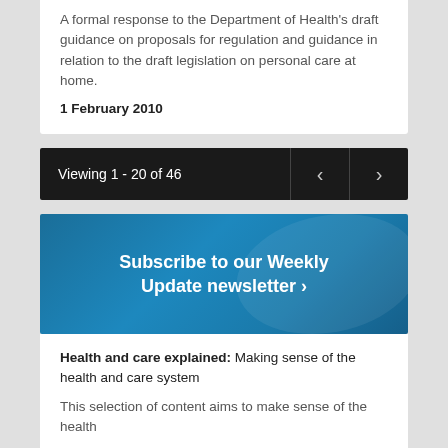A formal response to the Department of Health's draft guidance on proposals for regulation and guidance in relation to the draft legislation on personal care at home.
1 February 2010
Viewing 1 - 20 of 46
[Figure (other): Pagination bar with back and forward chevron buttons on dark background]
[Figure (other): Subscribe to our Weekly Update newsletter banner with blue gradient background and chevron]
Health and care explained: Making sense of the health and care system
This selection of content aims to make sense of the health